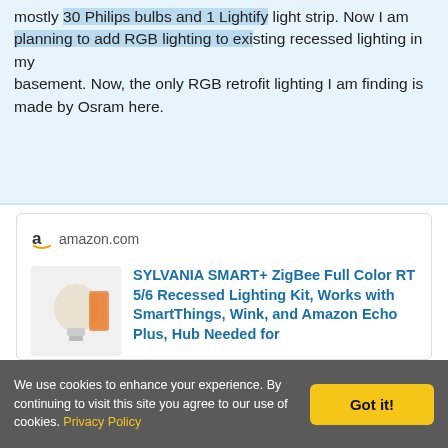mostly 30 Philips bulbs and 1 Lightify light strip. Now I am planning to add RGB lighting to existing recessed lighting in my basement. Now, the only RGB retrofit lighting I am finding is made by Osram here.
[Figure (screenshot): Amazon product card for SYLVANIA SMART+ ZigBee Full Color RT 5/6 Recessed Lighting Kit. Shows Amazon logo and domain, a product image placeholder, the product title in blue bold text, a badge showing '40', and a product description beginning 'Connect your Sylvania SMART+ ZigBee Full Color LED light bulb directly to your compatible ZigBee smart hub'.]
We use cookies to enhance your experience. By continuing to visit this site you agree to our use of cookies. Privacy Policy